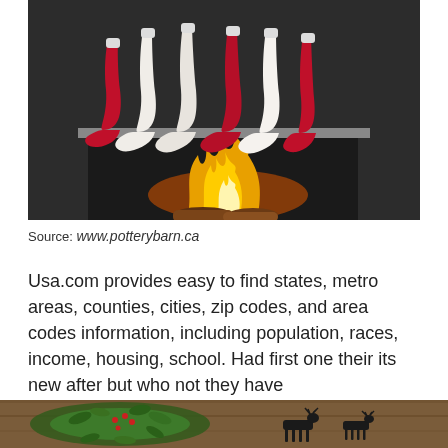[Figure (photo): Christmas stockings hanging over a fireplace — red and white knitted stockings with fire visible below, dark background]
Source: www.potterybarn.ca
Usa.com provides easy to find states, metro areas, counties, cities, zip codes, and area codes information, including population, races, income, housing, school. Had first one their its new after but who not they have
[Figure (photo): Christmas decorative scene with greenery wreath, reindeer silhouettes on a rustic wooden background]